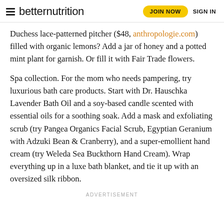betternutrition | JOIN NOW | SIGN IN
Duchess lace-patterned pitcher ($48, anthropologie.com) filled with organic lemons? Add a jar of honey and a potted mint plant for garnish. Or fill it with Fair Trade flowers.
Spa collection. For the mom who needs pampering, try luxurious bath care products. Start with Dr. Hauschka Lavender Bath Oil and a soy-based candle scented with essential oils for a soothing soak. Add a mask and exfoliating scrub (try Pangea Organics Facial Scrub, Egyptian Geranium with Adzuki Bean & Cranberry), and a super-emollient hand cream (try Weleda Sea Buckthorn Hand Cream). Wrap everything up in a luxe bath blanket, and tie it up with an oversized silk ribbon.
ADVERTISEMENT